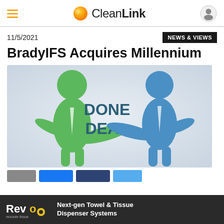CleanLink
11/5/2021
NEWS & VIEWS
BradyIFS Acquires Millennium
[Figure (illustration): Two cartoon business figures, one green and one blue, shaking hands. Text in the center reads 'DONE DEAL' in bold dark teal letters. Background is a light gray-to-white gradient.]
[Figure (logo): Revo by Resolute Tissue logo with text: Next-gen Towel & Tissue Dispenser Systems]